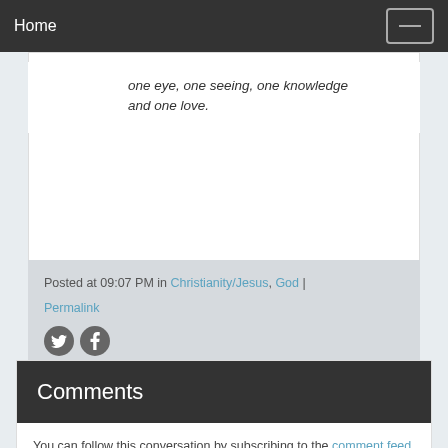Home
one eye, one seeing, one knowledge and one love.
Posted at 09:07 PM in Christianity/Jesus, God | Permalink
[Figure (other): Twitter and Facebook social sharing icons]
Comments
You can follow this conversation by subscribing to the comment feed for this post.